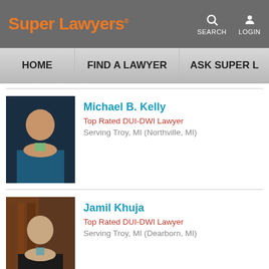Super Lawyers
[Figure (screenshot): Super Lawyers website navigation bar with HOME, FIND A LAWYER, ASK SUPER L... menu items and search/login icons]
[Figure (photo): Professional headshot of Michael B. Kelly in a blue suit with green tie against dark background]
Michael B. Kelly
Top Rated DUI-DWI Lawyer
Serving Troy, MI (Northville, MI)
[Figure (photo): Professional photo of Jamil Khuja in a dark suit with bookshelves in background]
Jamil Khuja
Top Rated DUI-DWI Lawyer
Serving Troy, MI (Dearborn, MI)
[Figure (photo): Partial photo of Neil S. Rockind outdoors]
Neil S. Rockind